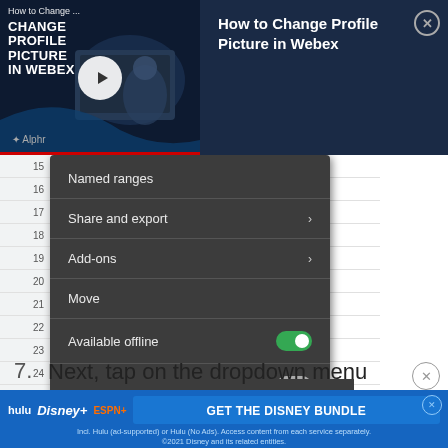[Figure (screenshot): Video overlay banner showing 'How to Change Profile Picture in Webex' with a play button thumbnail on the left and title text on the right, with an X close button.]
[Figure (screenshot): Screenshot of a spreadsheet with a dark context menu open showing options: Named ranges, Share and export (with arrow), Add-ons (with arrow), Move, Available offline (with green toggle on), Star (with grey toggle). A toolbar is visible at the bottom.]
7. Next, tap on the dropdown menu under
[Figure (screenshot): Advertisement banner for Disney Bundle showing Hulu, Disney+, ESPN+ logos and 'GET THE DISNEY BUNDLE' call to action with small print below.]